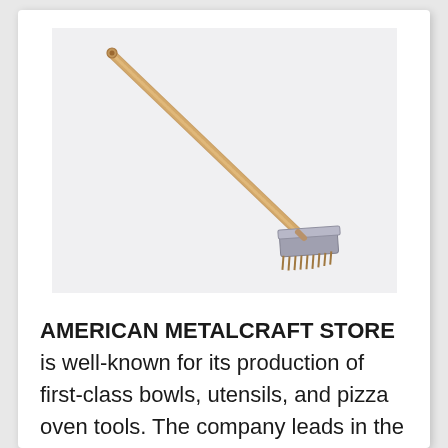[Figure (photo): A pizza oven brush/scraper tool with a long wooden handle extending diagonally from upper-left to lower-right, with a metal blade/brush attachment at the lower-right end, photographed on a light gray background.]
AMERICAN METALCRAFT STORE is well-known for its production of first-class bowls, utensils, and pizza oven tools. The company leads in the foodservice business for its trend-focused and exceptional